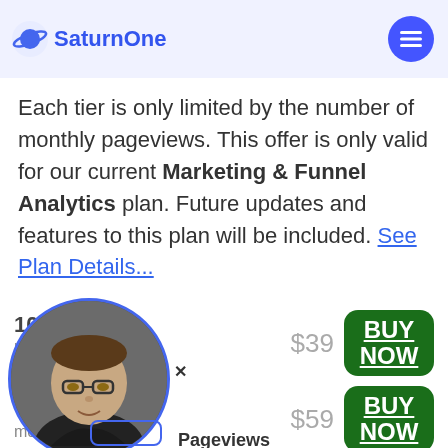SaturnOne
Pricing & Tiers
All tiers include all the features listed
Each tier is only limited by the number of monthly pageviews. This offer is only valid for our current Marketing & Funnel Analytics plan. Future updates and features to this plan will be included. See Plan Details...
10,000 monthly pageviews  $39  BUY NOW
Pageviews  $59  BUY NOW
[Figure (photo): Circular avatar photo of a man wearing glasses in a dark hoodie, overlaid on the pricing page with a blue border circle and a close X button nearby.]